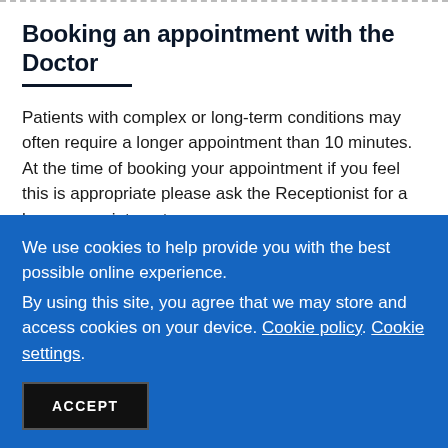Booking an appointment with the Doctor
Patients with complex or long-term conditions may often require a longer appointment than 10 minutes.
At the time of booking your appointment if you feel this is appropriate please ask the Receptionist for a longer appointment.
If you wish to speak to a doctor or nurse for advice please
We use cookies to help provide you with the best possible online experience.
By using this site, you agree that we may store and access cookies on your device. Cookie policy. Cookie settings.